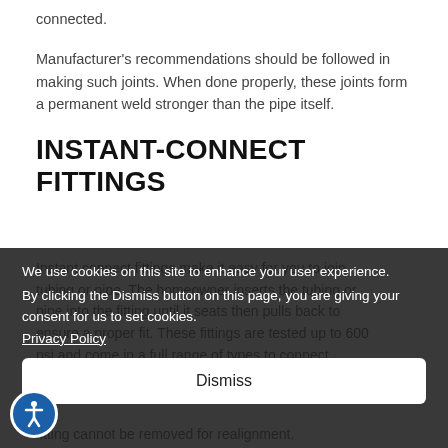connected.
Manufacturer's recommendations should be followed in making such joints. When done properly, these joints form a permanent weld stronger than the pipe itself.
INSTANT-CONNECT FITTINGS
Instant connect fittings make it easy for you to join tubing or pipe. The homeowner inserts the tubing or pipe into the fitting until it seats then pulls back to ensure a proper fit. These fittings are tested up to 600 psi and come in a full range of types to connect copper, polybuty-lene, CPVC and galvanized pipe in various combinations. Once the fitting is made, the fitting cannot be removed for realignment.
We use cookies on this site to enhance your user experience.
By clicking the Dismiss button on this page, you are giving your consent for us to set cookies.
Privacy Policy
Dismiss